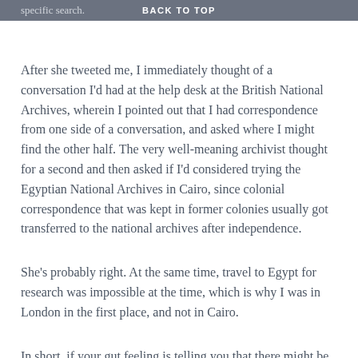specific search.    BACK TO TOP
After she tweeted me, I immediately thought of a conversation I'd had at the help desk at the British National Archives, wherein I pointed out that I had correspondence from one side of a conversation, and asked where I might find the other half. The very well-meaning archivist thought for a second and then asked if I'd considered trying the Egyptian National Archives in Cairo, since colonial correspondence that was kept in former colonies usually got transferred to the national archives after independence.
She's probably right. At the same time, travel to Egypt for research was impossible at the time, which is why I was in London in the first place, and not in Cairo.
In short, if your gut feeling is telling you that there might be something there that's useful to you, especially if you're